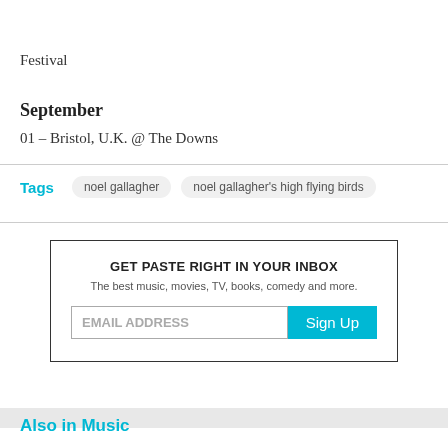Festival
September
01 – Bristol, U.K. @ The Downs
Tags   noel gallagher   noel gallagher's high flying birds
GET PASTE RIGHT IN YOUR INBOX
The best music, movies, TV, books, comedy and more.
EMAIL ADDRESS  Sign Up
Also in Music